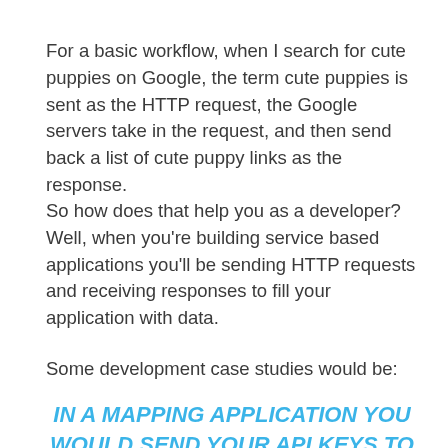For a basic workflow, when I search for cute puppies on Google, the term cute puppies is sent as the HTTP request, the Google servers take in the request, and then send back a list of cute puppy links as the response.
So how does that help you as a developer? Well, when you're building service based applications you'll be sending HTTP requests and receiving responses to fill your application with data.
Some development case studies would be:
IN A MAPPING APPLICATION YOU WOULD SEND YOUR API KEYS TO GOOGLE, ALONG WITH GEO COORDINATES AND BE SENT BACK A RESPONSE CONTAINING MAP DATA